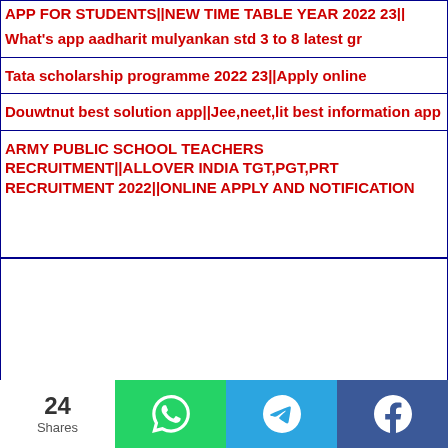APP FOR STUDENTS||NEW TIME TABLE YEAR 2022 23||
What's app aadharit mulyankan std 3 to 8 latest gr
Tata scholarship programme 2022 23||Apply online
Douwtnut best solution app||Jee,neet,lit best information app
ARMY PUBLIC SCHOOL TEACHERS RECRUITMENT||ALLOVER INDIA TGT,PGT,PRT RECRUITMENT 2022||ONLINE APPLY AND NOTIFICATION
24 Shares